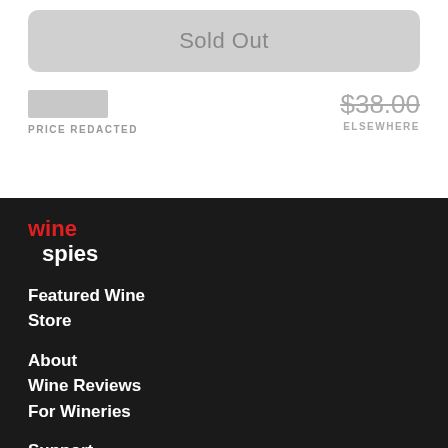Sold Out
PRICE REDACTED
$38.00 ELSEWHERE
[Figure (logo): Wine Spies logo with 'wine' in red and 'spies' in white on dark background]
Featured Wine
Store
About
Wine Reviews
For Wineries
Support